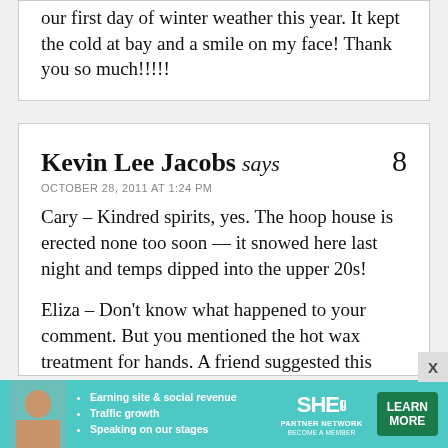our first day of winter weather this year. It kept the cold at bay and a smile on my face! Thank you so much!!!!!
Kevin Lee Jacobs says
OCTOBER 28, 2011 AT 1:24 PM
Cary – Kindred spirits, yes. The hoop house is erected none too soon — it snowed here last night and temps dipped into the upper 20s!

Eliza – Don't know what happened to your comment. But you mentioned the hot wax treatment for hands. A friend suggested this
[Figure (other): Advertisement banner for SHE Partner Network with a woman's photo, bullets about earning site & social revenue, traffic growth, speaking on stages, SHE logo, and a Learn More button]